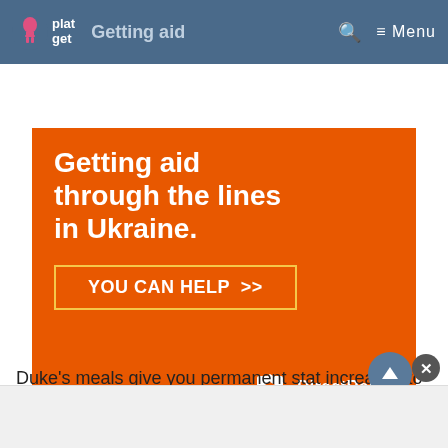platget | Getting aid through the lines in Ukraine.
[Figure (infographic): Orange Direct Relief advertisement banner with text 'Getting aid through the lines in Ukraine.' and a 'YOU CAN HELP >>' button with Direct Relief logo]
Duke's meals give you permanent stat increases to Health, Defence, and Speed, which are a huge help in later runs.